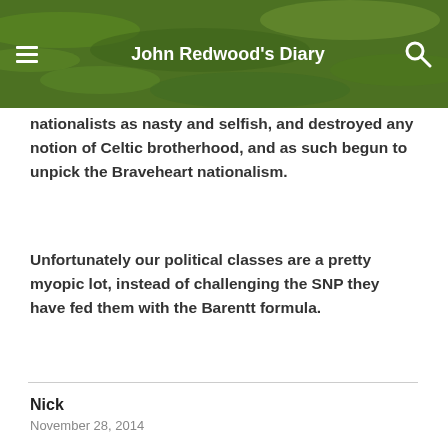John Redwood's Diary
nationalists as nasty and selfish, and destroyed any notion of Celtic brotherhood, and as such begun to unpick the Braveheart nationalism.
Unfortunately our political classes are a pretty myopic lot, instead of challenging the SNP they have fed them with the Barentt formula.
Nick
November 28, 2014
English voters to decide on English taxes.
If only